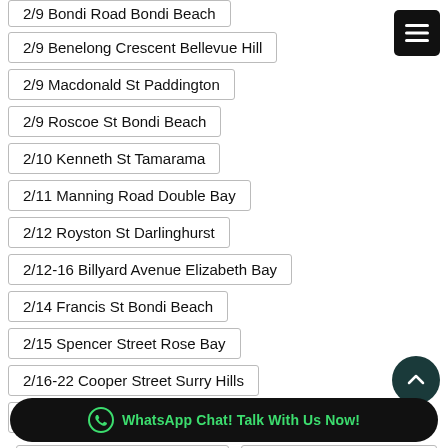2/9 Benelong Crescent Bellevue Hill
2/9 Macdonald St Paddington
2/9 Roscoe St Bondi Beach
2/10 Kenneth St Tamarama
2/11 Manning Road Double Bay
2/12 Royston St Darlinghurst
2/12-16 Billyard Avenue Elizabeth Bay
2/14 Francis St Bondi Beach
2/15 Spencer Street Rose Bay
2/16-22 Cooper Street Surry Hills
2/...
2/36 Dover Road Rose Bay
2/37 Booth St Annandale
WhatsApp Chat! Talk With Us Now!